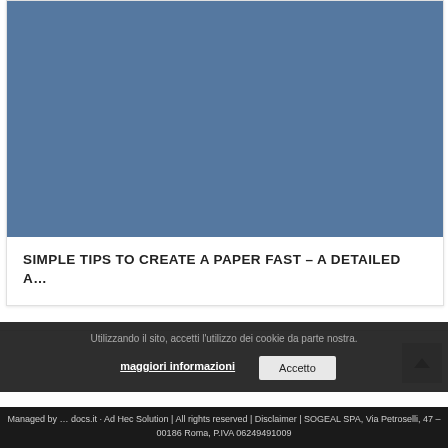[Figure (photo): Blue-grey solid color rectangle serving as a card image placeholder]
SIMPLE TIPS TO CREATE A PAPER FAST – A DETAILED A…
Utilizzando il sito, accetti l'utilizzo dei cookie da parte nostra.
maggiori informazioni
Accetto
Managed by … docs.it · Ad Hec Solution | All rights reserved | Disclaimer | SOGEAL SPA, Via Petroselli, 47 – 00186 Roma, P.IVA 06249491009